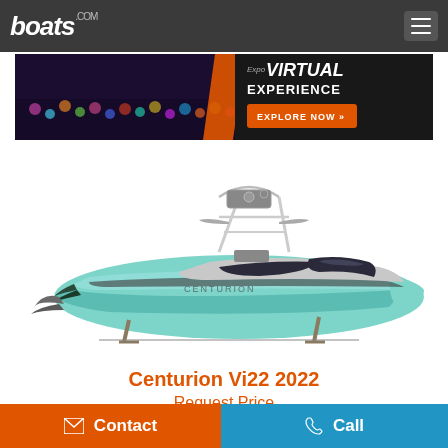boats.com
[Figure (photo): Advertisement banner for Expo Virtual Experience with 'EXPLORE NOW >>' button on dark background]
[Figure (photo): A 2022 Centurion Vi22 wake boat in light teal/mint color with silver accents and wake tower, shown on a trailer against white background]
Centurion Vi22 2022
Request Price